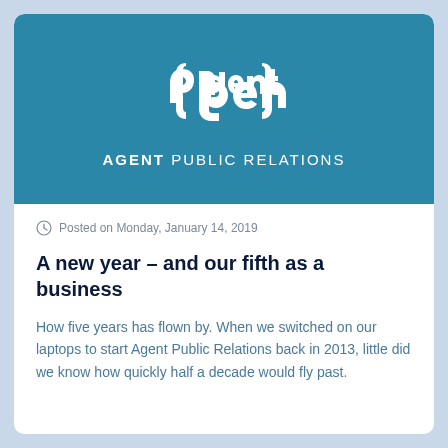[Figure (logo): Agent Public Relations logo — white stylized 'agent' lettering on teal/blue background with text AGENT PUBLIC RELATIONS below]
Posted on Monday, January 14, 2019
A new year – and our fifth as a business
How five years has flown by. When we switched on our laptops to start Agent Public Relations back in 2013, little did we know how quickly half a decade would fly past.